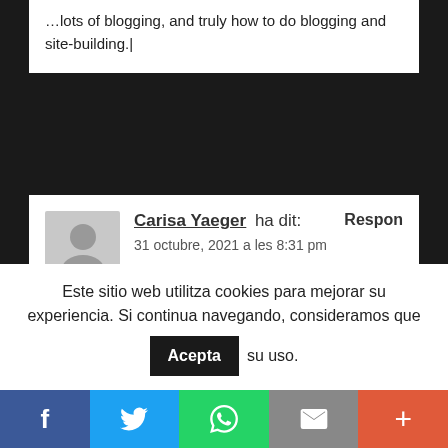…lots of blogging, and truly how to do blogging and site-building.|
Carisa Yaeger ha dit: Respon
31 octubre, 2021 a les 8:31 pm
My spouse and I stumbled over here from a different web address and thought I might as well check things out. I like what I see so now i'm following you. Look forward to finding out about your web page repeatedly.|
Este sitio web utilitza cookies para mejorar su experiencia. Si continua navegando, consideramos que Acepta su uso.